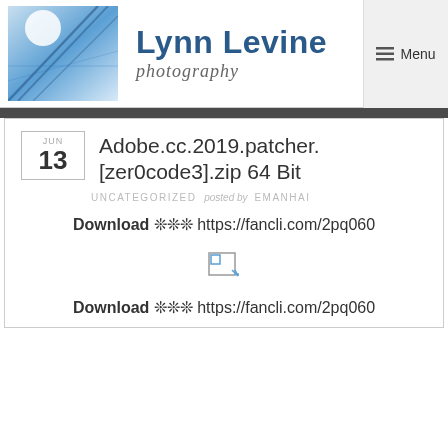[Figure (logo): Lynn Levine Photography site header with blue architectural photo logo, site name and photography tagline, and Menu button]
Adobe.cc.2019.patcher.[zer0code3].zip 64 Bit
UNCATEGORIZED posted by EMANHAI
Download ❊❊❊ https://fancli.com/2pq060
[Figure (photo): Broken image placeholder icon]
Download ❊❊❊ https://fancli.com/2pq060